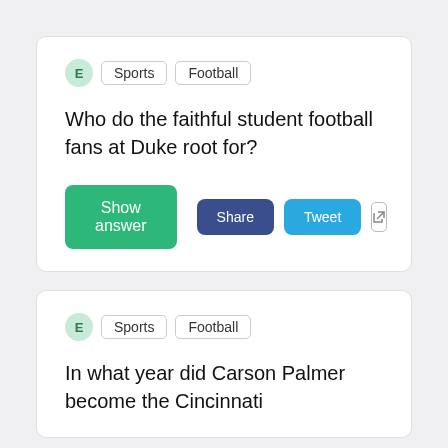E  Sports  Football
Who do the faithful student football fans at Duke root for?
Show answer  Share  Tweet
E  Sports  Football
In what year did Carson Palmer become the Cincinnati